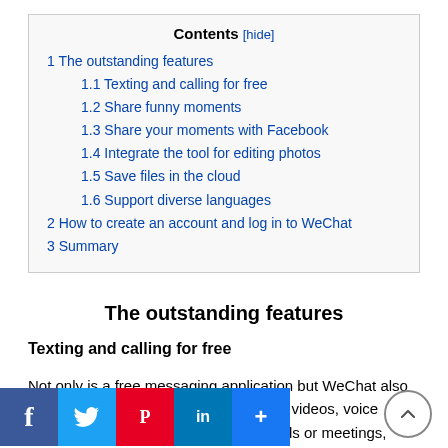| Contents [hide] |
| --- |
| 1 The outstanding features |
| 1.1 Texting and calling for free |
| 1.2 Share funny moments |
| 1.3 Share your moments with Facebook |
| 1.4 Integrate the tool for editing photos |
| 1.5 Save files in the cloud |
| 1.6 Support diverse languages |
| 2 How to create an account and log in to WeChat |
| 3 Summary |
The outstanding features
Texting and calling for free
Not only is a free messaging application but WeChat also allows users to send MMS with photos, videos, voice messages. Besides, for groups of friends or meetings,